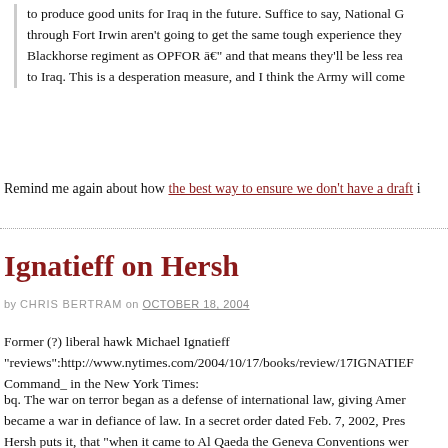to produce good units for Iraq in the future. Suffice to say, National G... through Fort Irwin aren't going to get the same tough experience they... Blackhorse regiment as OPFOR â€" and that means they'll be less rea... to Iraq. This is a desperation measure, and I think the Army will come
Remind me again about how the best way to ensure we don't have a draft i
Ignatieff on Hersh
by CHRIS BERTRAM on OCTOBER 18, 2004
Former (?) liberal hawk Michael Ignatieff "reviews":http://www.nytimes.com/2004/10/17/books/review/17IGNATIEF Command_ in the New York Times:
bq. The war on terror began as a defense of international law, giving Amer... became a war in defiance of law. In a secret order dated Feb. 7, 2002, Pres... Hersh puts it, that "when it came to Al Qaeda the Geneva Conventions wer... discretion." Based on memorandums from the Defense and Justice Depart... legal office that, in Anthony Lewis's apt words, "read like the advice of a m... on how to … stay out of prison." Bush unilaterally withdrew the war on